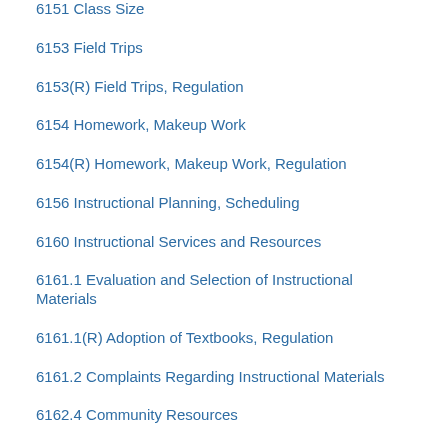6151 Class Size
6153 Field Trips
6153(R) Field Trips, Regulation
6154 Homework, Makeup Work
6154(R) Homework, Makeup Work, Regulation
6156 Instructional Planning, Scheduling
6160 Instructional Services and Resources
6161.1 Evaluation and Selection of Instructional Materials
6161.1(R) Adoption of Textbooks, Regulation
6161.2 Complaints Regarding Instructional Materials
6162.4 Community Resources
6162.5 Research
6163.1 Media Center, the...